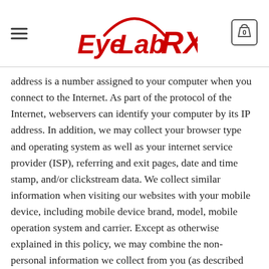EyeLabRX
address is a number assigned to your computer when you connect to the Internet. As part of the protocol of the Internet, webservers can identify your computer by its IP address. In addition, we may collect your browser type and operating system as well as your internet service provider (ISP), referring and exit pages, date and time stamp, and/or clickstream data. We collect similar information when visiting our websites with your mobile device, including mobile device brand, model, mobile operation system and carrier. Except as otherwise explained in this policy, we may combine the non-personal information we collect from you (as described above and as described below, under “Cookies”) with your personal information in order to tailor our websites and enhance your online experience by saving your preferences and/or to help